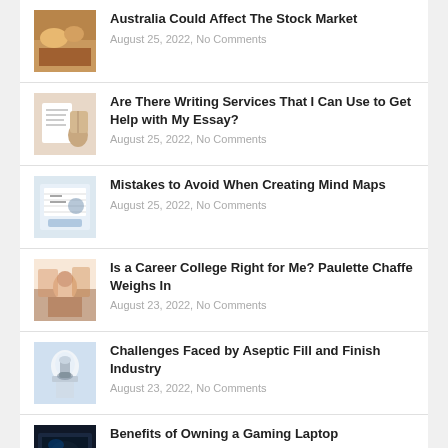Australia Could Affect The Stock Market
August 25, 2022, No Comments
Are There Writing Services That I Can Use to Get Help with My Essay?
August 25, 2022, No Comments
Mistakes to Avoid When Creating Mind Maps
August 25, 2022, No Comments
Is a Career College Right for Me? Paulette Chaffe Weighs In
August 23, 2022, No Comments
Challenges Faced by Aseptic Fill and Finish Industry
August 23, 2022, No Comments
Benefits of Owning a Gaming Laptop
August 22, 2022, No Comments